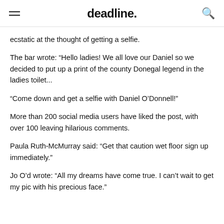deadline.
ecstatic at the thought of getting a selfie.
The bar wrote: “Hello ladies! We all love our Daniel so we decided to put up a print of the county Donegal legend in the ladies toilet...
“Come down and get a selfie with Daniel O’Donnell!”
More than 200 social media users have liked the post, with over 100 leaving hilarious comments.
Paula Ruth-McMurray said: “Get that caution wet floor sign up immediately.”
Jo O’d wrote: “All my dreams have come true. I can’t wait to get my pic with his precious face.”